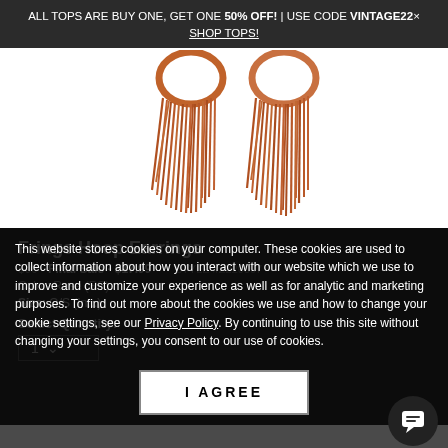ALL TOPS ARE BUY ONE, GET ONE 50% OFF! | USE CODE VINTAGE22× SHOP TOPS!
[Figure (photo): Product photo of rust/terracotta colored fringe hoop earrings on white background]
Fringe Hoop Earrings
$99  Final Sale - $17.99   STYLE #Z226097
Color: Rose (RS)
Size: O/S (In...)
Select Quantity:
1
This website stores cookies on your computer. These cookies are used to collect information about how you interact with our website which we use to improve and customize your experience as well as for analytic and marketing purposes. To find out more about the cookies we use and how to change your cookie settings, see our Privacy Policy. By continuing to use this site without changing your settings, you consent to our use of cookies.
I AGREE